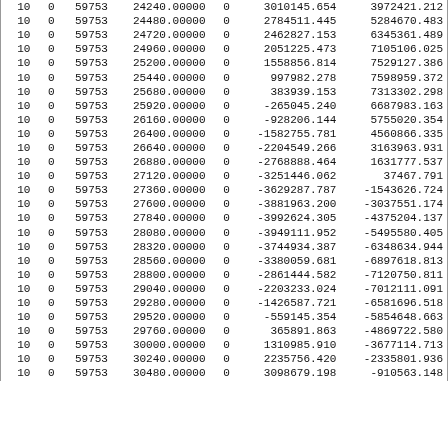| 10 | 0 | 59753 | 24240.00000 | 0 | 3010145.654 | 3972421.212 |
| 10 | 0 | 59753 | 24480.00000 | 0 | 2784511.445 | 5284670.483 |
| 10 | 0 | 59753 | 24720.00000 | 0 | 2462827.153 | 6345361.489 |
| 10 | 0 | 59753 | 24960.00000 | 0 | 2051225.473 | 7105106.025 |
| 10 | 0 | 59753 | 25200.00000 | 0 | 1558856.814 | 7529127.386 |
| 10 | 0 | 59753 | 25440.00000 | 0 | 997982.278 | 7598959.372 |
| 10 | 0 | 59753 | 25680.00000 | 0 | 383939.153 | 7313302.298 |
| 10 | 0 | 59753 | 25920.00000 | 0 | -265045.240 | 6687983.163 |
| 10 | 0 | 59753 | 26160.00000 | 0 | -928206.144 | 5755020.354 |
| 10 | 0 | 59753 | 26400.00000 | 0 | -1582755.781 | 4560866.335 |
| 10 | 0 | 59753 | 26640.00000 | 0 | -2204549.266 | 3163963.931 |
| 10 | 0 | 59753 | 26880.00000 | 0 | -2768888.464 | 1631777.537 |
| 10 | 0 | 59753 | 27120.00000 | 0 | -3251446.062 | 37467.791 |
| 10 | 0 | 59753 | 27360.00000 | 0 | -3629287.787 | -1543626.724 |
| 10 | 0 | 59753 | 27600.00000 | 0 | -3881963.200 | -3037551.174 |
| 10 | 0 | 59753 | 27840.00000 | 0 | -3992624.305 | -4375204.137 |
| 10 | 0 | 59753 | 28080.00000 | 0 | -3949111.952 | -5495580.405 |
| 10 | 0 | 59753 | 28320.00000 | 0 | -3744934.387 | -6348634.944 |
| 10 | 0 | 59753 | 28560.00000 | 0 | -3380059.681 | -6897618.813 |
| 10 | 0 | 59753 | 28800.00000 | 0 | -2861444.582 | -7120750.811 |
| 10 | 0 | 59753 | 29040.00000 | 0 | -2203233.024 | -7012111.091 |
| 10 | 0 | 59753 | 29280.00000 | 0 | -1426587.721 | -6581696.518 |
| 10 | 0 | 59753 | 29520.00000 | 0 | -559145.354 | -5854648.663 |
| 10 | 0 | 59753 | 29760.00000 | 0 | 365891.863 | -4869722.580 |
| 10 | 0 | 59753 | 30000.00000 | 0 | 1310985.910 | -3677114.713 |
| 10 | 0 | 59753 | 30240.00000 | 0 | 2235756.420 | -2335801.936 |
| 10 | 0 | 59753 | 30480.00000 | 0 | 3098679.198 | -910563.148 |